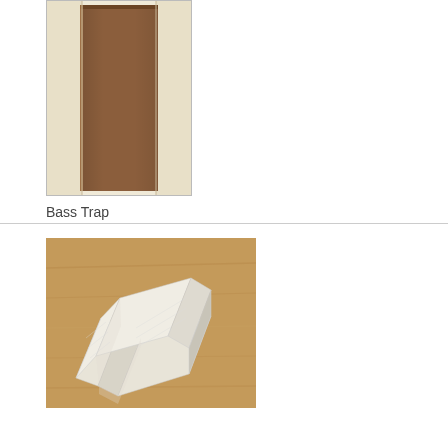[Figure (photo): Photo of a bass trap acoustic panel mounted in a room corner, showing a brown rectangular panel between white walls]
Bass Trap
[Figure (photo): Photo of a white foam or polystyrene corner piece/bracket on a wooden surface, L-shaped acoustic treatment material]